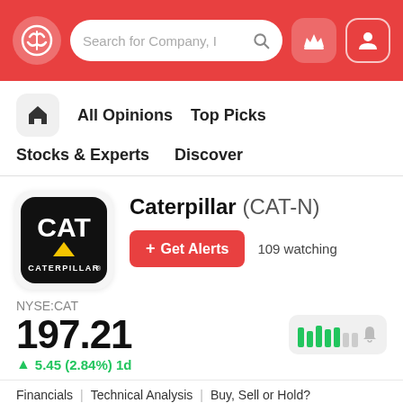Search for Company, I
All Opinions  Top Picks
Stocks & Experts  Discover
Caterpillar (CAT-N)
+ Get Alerts  109 watching
NYSE:CAT
197.21
↑ 5.45 (2.84%) 1d
Financials | Technical Analysis | Buy, Sell or Hold?